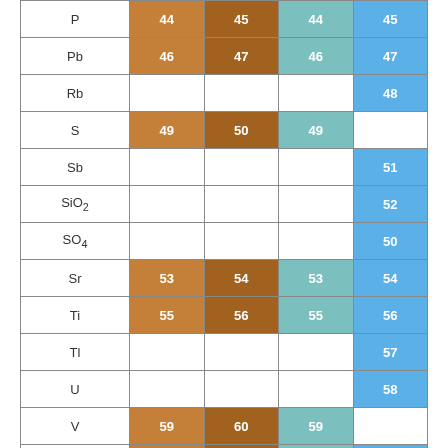| Element | Col1 | Col2 | Col3 | Col4 |
| --- | --- | --- | --- | --- |
| P | 44 | 45 | 44 | 45 |
| Pb | 46 | 47 | 46 | 47 |
| Rb |  |  |  | 48 |
| S | 49 | 50 | 49 |  |
| Sb |  |  |  | 51 |
| SiO₂ |  |  |  | 52 |
| SO₄ |  |  |  | 50 |
| Sr | 53 | 54 | 53 | 54 |
| Ti | 55 | 56 | 55 | 56 |
| Tl |  |  |  | 57 |
| U |  |  |  | 58 |
| V | 59 | 60 | 59 |  |
| Zn | 61 | 62 | 61 | 62 |
| Topsoil classification (0,0-0,3 m) with respect to soil use | 63 |  |  |  |